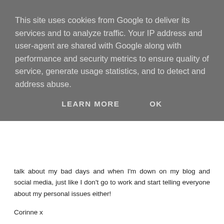This site uses cookies from Google to deliver its services and to analyze traffic. Your IP address and user-agent are shared with Google along with performance and security metrics to ensure quality of service, generate usage statistics, and to detect and address abuse.
LEARN MORE   OK
talk about my bad days and when I'm down on my blog and social media, just like I don't go to work and start telling everyone about my personal issues either!
Corinne x
www.skinnedcartree.com
REPLY
↓ REPLIES
Call Me Amy